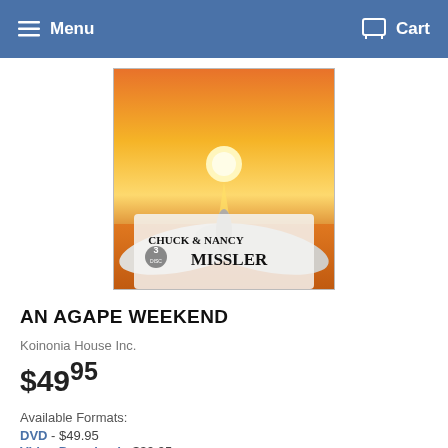Menu   Cart
[Figure (photo): DVD product cover for 'An Agape Weekend' by Chuck & Nancy Missler. Shows an open book with a sunset/sunrise scene, orange sky, sun reflecting on water. Text reads 'CHUCK & NANCY MISSLER' with a '3 DISC' logo.]
AN AGAPE WEEKEND
Koinonia House Inc.
$49.95
Available Formats:
DVD - $49.95
Video Download - $39.95